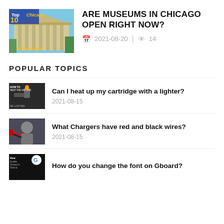[Figure (photo): Thumbnail image showing Top 10 Chicago Best museums with a classical building facade]
ARE MUSEUMS IN CHICAGO OPEN RIGHT NOW?
2021-08-20   14
POPULAR TOPICS
[Figure (photo): Thumbnail showing how to heat up a vape cartridge with a lighter]
Can I heat up my cartridge with a lighter?
2021-08-15
[Figure (photo): Thumbnail showing chargers with red and black wires]
What Chargers have red and black wires?
2021-08-15
[Figure (photo): Thumbnail showing how to enable Gboard font feature with Google logo]
How do you change the font on Gboard?